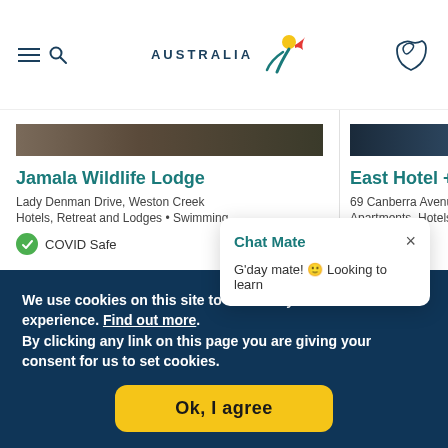Australia tourism website header with menu, logo, and map icon
Jamala Wildlife Lodge
Lady Denman Drive, Weston Creek
Hotels, Retreat and Lodges • Swimming…
✓ COVID Safe
East Hotel + Apa
69 Canberra Avenu
Apartments, Hotels
Chat Mate
G'day mate! 🙂 Looking to learn
We use cookies on this site to enhance your user experience. Find out more.
By clicking any link on this page you are giving your consent for us to set cookies.
Ok, I agree